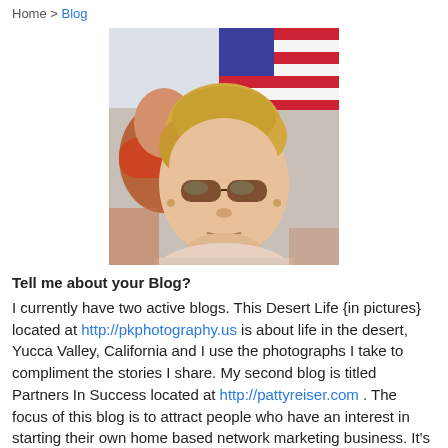Home > Blog
[Figure (photo): Portrait photo of a woman with short blonde hair, wearing sunglasses and a light pink top, outdoors with an American flag in the background.]
Tell me about your Blog?
I currently have two active blogs. This Desert Life {in pictures} located at http://pkphotography.us  is about life in the desert, Yucca Valley, California and I use the photographs I take to compliment the stories I share. My second blog is titled Partners In Success located at http://pattyreiser.com . The focus of this blog is to attract people who have an interest in starting their own home based network marketing business. It's networking